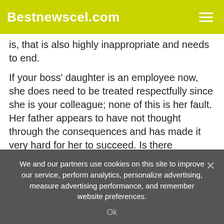Bestnewscel.com
is, that is also highly inappropriate and needs to end.
If your boss' daughter is an employee now, she does need to be treated respectfully since she is your colleague; none of this is her fault. Her father appears to have not thought through the consequences and has made it very hard for her to succeed. Is there someone at HR you can speak with about your concerns with the recruitment process? Avoid making it personal about the daughter but rather how the team can most effectively function now.
In the meantime, I'm sure she is feeling uncomfortable too. Try
We and our partners use cookies on this site to improve our service, perform analytics, personalize advertising, measure advertising performance, and remember website preferences.
Ok